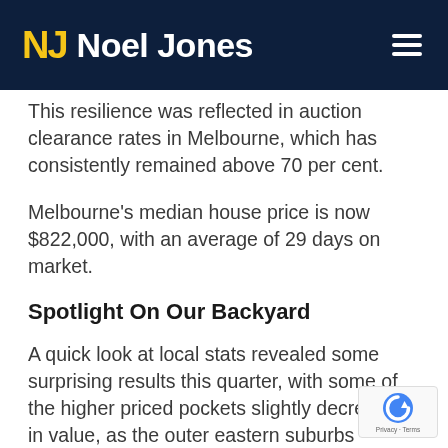Noel Jones
This resilience was reflected in auction clearance rates in Melbourne, which has consistently remained above 70 per cent.
Melbourne's median house price is now $822,000, with an average of 29 days on market.
Spotlight On Our Backyard
A quick look at local stats revealed some surprising results this quarter, with some of the higher priced pockets slightly decreasing in value, as the outer eastern suburbs soared. Croydon recorded Melbourne's highest median price growth for the quarter at a staggering 20%.